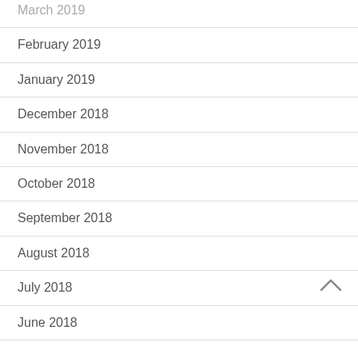March 2019
February 2019
January 2019
December 2018
November 2018
October 2018
September 2018
August 2018
July 2018
June 2018